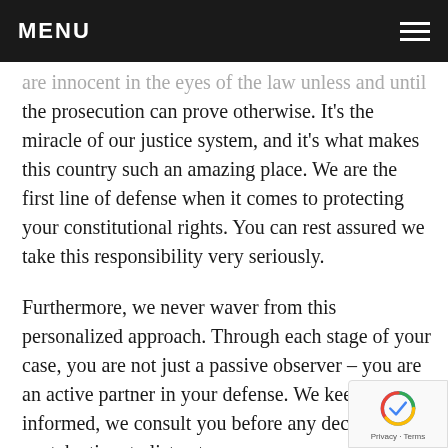MENU
are innocent in the eyes of the law unless and until the prosecution can prove otherwise. It's the miracle of our justice system, and it's what makes this country such an amazing place. We are the first line of defense when it comes to protecting your constitutional rights. You can rest assured we take this responsibility very seriously.
Furthermore, we never waver from this personalized approach. Through each stage of your case, you are not just a passive observer – you are an active partner in your defense. We keep you informed, we consult you before any decision, and we take time to listen to your concerns, answer your questions, and consider your thoughts on the way the case is unfolding.
Derwood-Redland Felony and